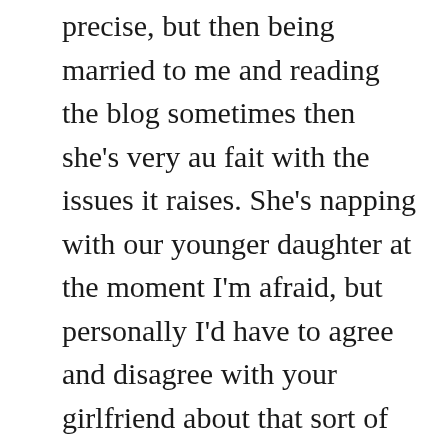precise, but then being married to me and reading the blog sometimes then she's very au fait with the issues it raises. She's napping with our younger daughter at the moment I'm afraid, but personally I'd have to agree and disagree with your girlfriend about that sort of thing being so common. Sure, it's difficult to avoid skin being used to sell things on mainstream Korean TV these days (of guys' abs too), but